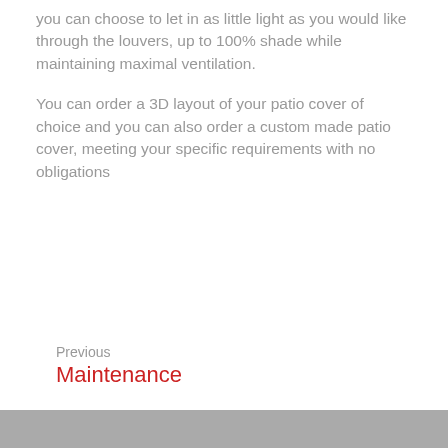you can choose to let in as little light as you would like through the louvers, up to 100% shade while maintaining maximal ventilation.
You can order a 3D layout of your patio cover of choice and you can also order a custom made patio cover, meeting your specific requirements with no obligations
Previous
Maintenance